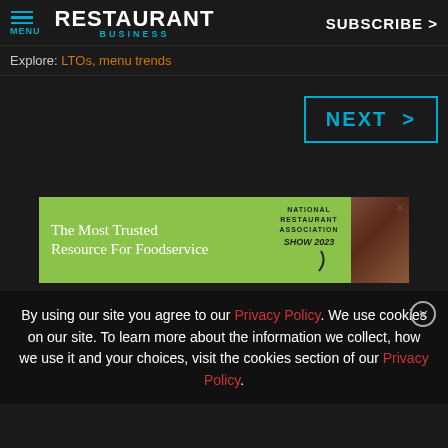RESTAURANT BUSINESS | MENU | SUBSCRIBE >
Explore: LTOs, menu trends
[Figure (other): NEXT > button with cyan border]
[Figure (other): Advertisement banner: The Most Trusted Resource For Foodservice - National Restaurant Association Show 2023]
By using our site you agree to our Privacy Policy. We use cookies on our site. To learn more about the information we collect, how we use it and your choices, visit the cookies section of our Privacy Policy.